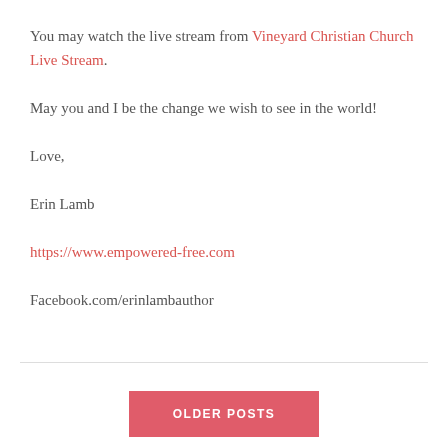You may watch the live stream from Vineyard Christian Church Live Stream.
May you and I be the change we wish to see in the world!
Love,
Erin Lamb
https://www.empowered-free.com
Facebook.com/erinlambauthor
OLDER POSTS